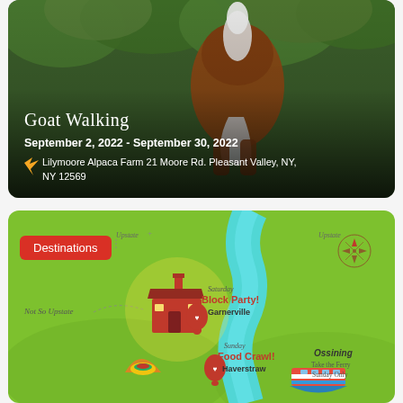[Figure (photo): A horse (brown and white) photographed from behind, surrounded by green trees. Overlaid with event details for Goat Walking.]
Goat Walking
September 2, 2022 - September 30, 2022
Lilymoore Alpaca Farm 21 Moore Rd. Pleasant Valley, NY, NY 12569
[Figure (map): An illustrated green map showing destinations along a river. Features a red 'Destinations' badge, a compass rose, labels: 'Saturday Block Party! Garnerville', 'Sunday Food Crawl! Haverstraw', 'Ossining Take the Ferry Sunday Only', 'Not So Upstate', with illustrated icons including a barn, tacos, a ferry boat, and a map pin with heart.]